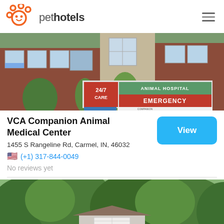pethotels
[Figure (photo): Exterior photo of VCA Companion Animal Medical Center showing brick building with 24/7 CARE ANIMAL HOSPITAL EMERGENCY signage and greenery in front]
VCA Companion Animal Medical Center
1455 S Rangeline Rd, Carmel, IN, 46032
(+1) 317-844-0049
No reviews yet
[Figure (photo): Exterior photo showing a small garage/building structure surrounded by dense green trees and foliage]